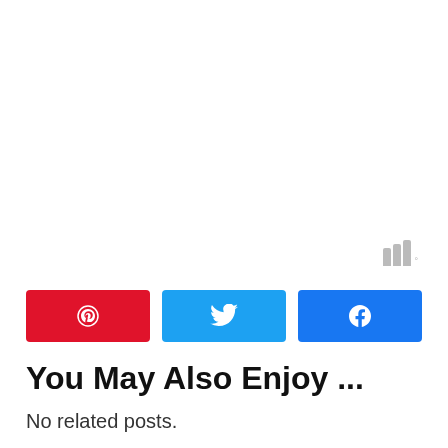[Figure (logo): Small watermark icon with three vertical bars of increasing height and a superscript degree symbol, in gray]
[Figure (infographic): Three social share buttons side by side: Pinterest (red, P icon), Twitter (light blue, bird icon), Facebook (dark blue, thumbs up icon)]
You May Also Enjoy ...
No related posts.